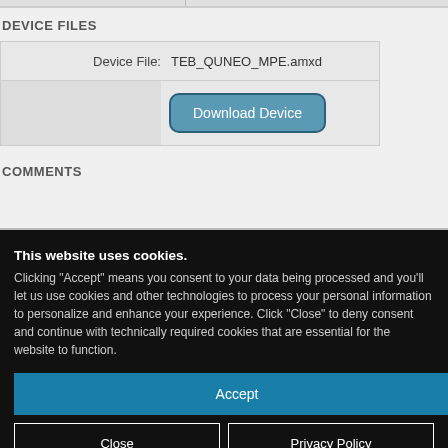DEVICE FILES
|  |  |
| --- | --- |
| Device File: | TEB_QUNEO_MPE.amxd |
|  | Download Device |
COMMENTS
This website uses cookies. Clicking “Accept” means you consent to your data being processed and you’ll let us use cookies and other technologies to process your personal information to personalize and enhance your experience. Click “Close” to deny consent and continue with technically required cookies that are essential for the website to function.
Accept
Close
Privacy Policy